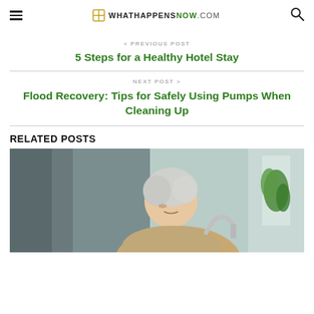WHATHAPPENSNOW.COM
< PREVIOUS POST
5 Steps for a Healthy Hotel Stay
NEXT POST >
Flood Recovery: Tips for Safely Using Pumps When Cleaning Up
RELATED POSTS
[Figure (photo): Elderly woman with grey curly hair looking down, near a faucet and plant by a window]